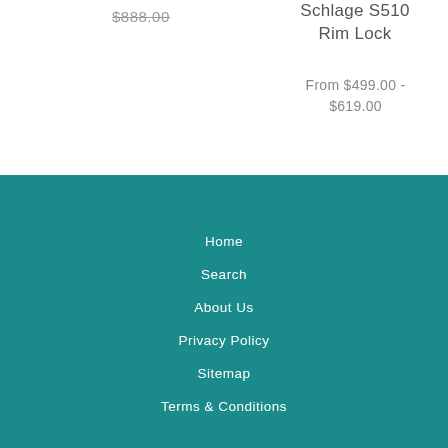$888.00
Schlage S510 Rim Lock
From $499.00 - $619.00
Home
Search
About Us
Privacy Policy
Sitemap
Terms & Conditions